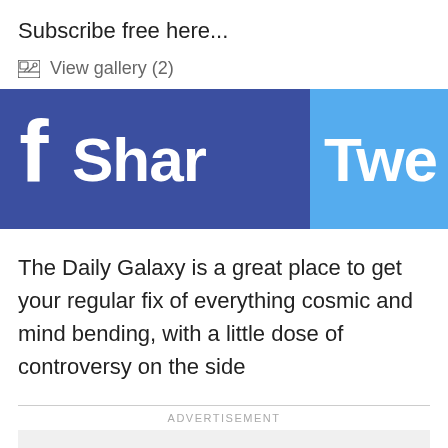Subscribe free here...
View gallery (2)
[Figure (other): Social sharing buttons: Facebook 'Share' button (dark blue with Facebook logo) and Twitter 'Tweet' button (light blue), both cropped at right edge]
The Daily Galaxy is a great place to get your regular fix of everything cosmic and mind bending, with a little dose of controversy on the side
ADVERTISEMENT